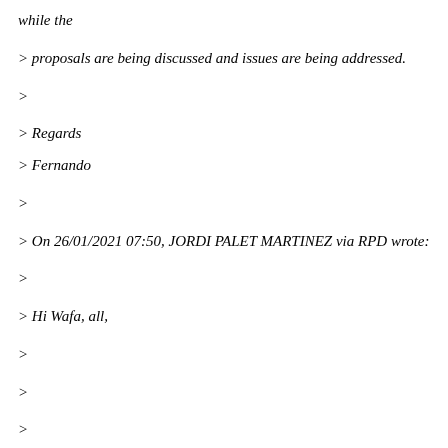while the
> proposals are being discussed and issues are being addressed.
>
> Regards
> Fernando
>
> On 26/01/2021 07:50, JORDI PALET MARTINEZ via RPD wrote:
>
> Hi Wafa, all,
>
>
>